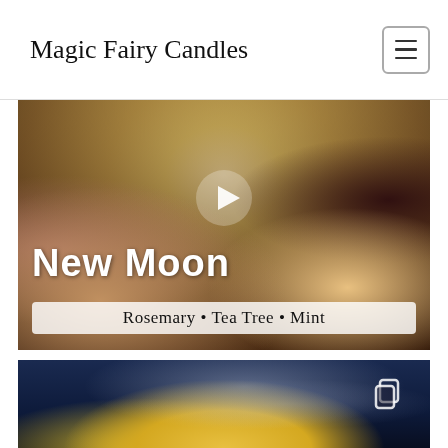Magic Fairy Candles
[Figure (photo): Video thumbnail of a candle in a bowl surrounded by crystals and rocks with a play button overlay. Text overlay reads 'New Moon' and a pill-shaped banner reads 'Rosemary • Tea Tree • Mint']
[Figure (photo): Photo of smoke wisps rising from small yellow flower-shaped candles against a dark blue background, with a copy/gallery icon in the top right corner]